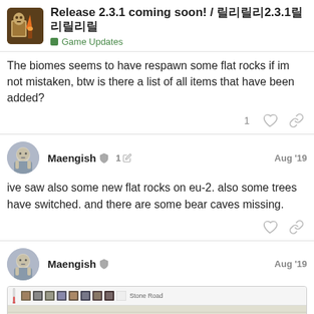Release 2.3.1 coming soon! / 리릴리리2.3.1리리리리리 — Game Updates
The biomes seems to have respawn some flat rocks if im not mistaken, btw is there a list of all items that have been added?
1 like, link
Maengish — 1 edit — Aug '19
ive saw also some new flat rocks on eu-2. also some trees have switched. and there are some bear caves missing.
like, link
Maengish — Aug '19
[Figure (screenshot): Game screenshot showing a map with stone road label and various terrain icons in toolbar]